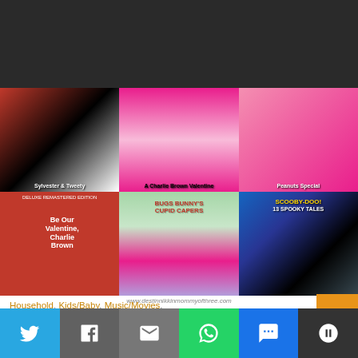[Figure (photo): Collage of 6 DVD covers including Sylvester, Charlie Brown, Peanuts, Be Our Valentine Charlie Brown, Bugs Bunny Cupid Capers, and Scooby-Doo 13 Spooky Tales, with watermark www.destinnikkinmommyofthree.com]
Household, Kids/Baby, Music/Movies, Reviews/Giveaways
WARNER BROS. VALENTINE'S
[Figure (infographic): Social media share bar with Twitter, Facebook, Email, WhatsApp, SMS, and More buttons]